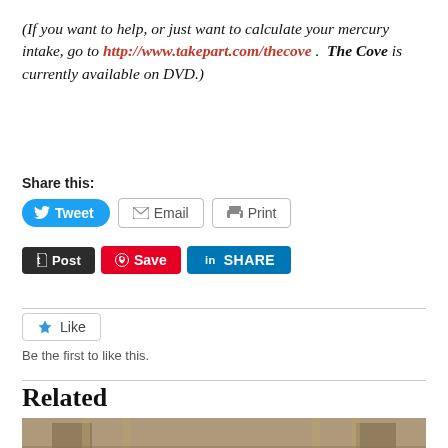(If you want to help, or just want to calculate your mercury intake, go to http://www.takepart.com/thecove .  The Cove is currently available on DVD.)
Share this:
[Figure (screenshot): Social share buttons: Tweet, Email, Print, Post, Save, Share]
[Figure (screenshot): Like button widget]
Be the first to like this.
Related
[Figure (photo): Interior of an ornate hall with arched windows and chandeliers]